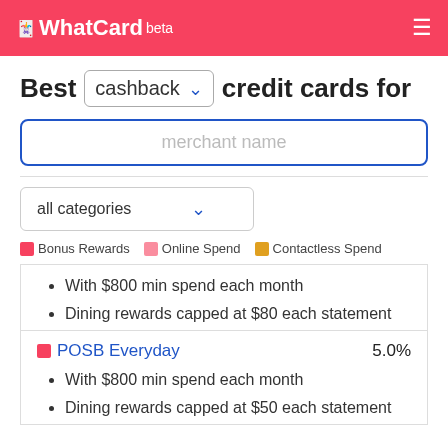🃏 WhatCard beta
Best cashback credit cards for merchant name
all categories
🃏 Bonus Rewards  🃏 Online Spend  🟧 Contactless Spend
With $800 min spend each month
Dining rewards capped at $80 each statement
🃏 POSB Everyday  5.0%
With $800 min spend each month
Dining rewards capped at $50 each statement